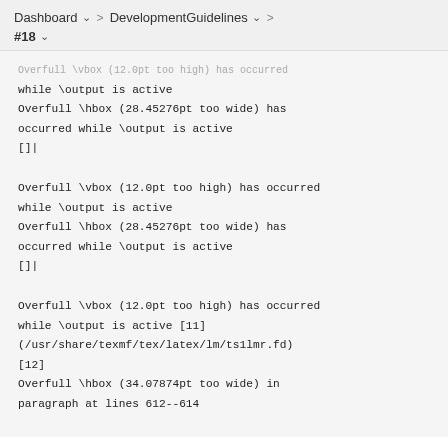Dashboard > DevelopmentGuidelines > #18
Overfull \vbox (12.0pt too high) has occurred while \output is active
Overfull \hbox (28.45276pt too wide) has occurred while \output is active
[]|
Overfull \vbox (12.0pt too high) has occurred while \output is active
Overfull \hbox (28.45276pt too wide) has occurred while \output is active
[]|
Overfull \vbox (12.0pt too high) has occurred while \output is active [11]
(/usr/share/texmf/tex/latex/lm/ts1lmr.fd)
[12]
Overfull \hbox (34.07874pt too wide) in paragraph at lines 612--614